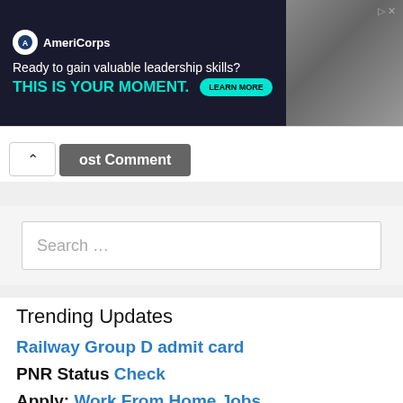[Figure (screenshot): AmeriCorps advertisement banner with dark navy background. Logo, tagline 'Ready to gain valuable leadership skills?', 'THIS IS YOUR MOMENT.' in teal, 'LEARN MORE' button, and photo of students on right.]
ost Comment
Search ...
Trending Updates
Railway Group D admit card
PNR Status Check
Apply: Work From Home Jobs